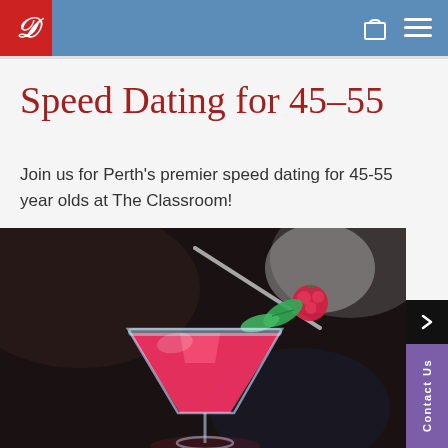D [logo] — navigation bar with shopping bag and menu icons
Speed Dating for 45–55
Join us for Perth's premier speed dating for 45-55 year olds at The Classroom!
[Figure (photo): Photo of a red cocktail (martini glass) garnished with a raspberry and mint leaves, with a straw, photographed on a dark background]